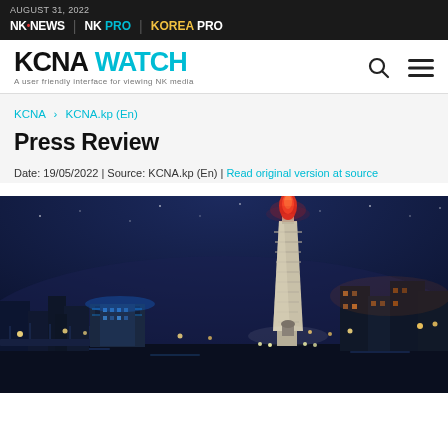AUGUST 31, 2022 | NK NEWS | NK PRO | KOREA PRO
KCNA WATCH – A user friendly interface for viewing NK media
KCNA > KCNA.kp (En)
Press Review
Date: 19/05/2022 | Source: KCNA.kp (En) | Read original version at source
[Figure (photo): Night cityscape of Pyongyang showing illuminated tower (Juche Tower) with red flame at top, city lights, river, and urban buildings in background under dark blue sky]